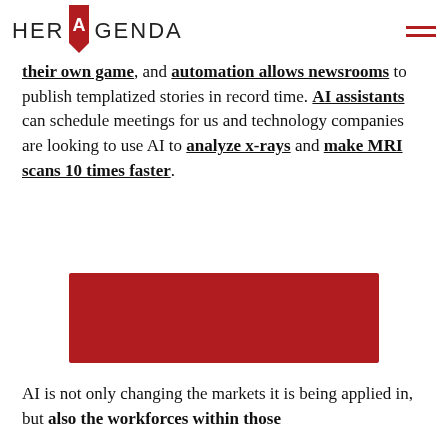HER AGENDA
their own game), and automation allows newsrooms to publish templatized stories in record time. AI assistants can schedule meetings for us and technology companies are looking to use AI to analyze x-rays and make MRI scans 10 times faster.
[Figure (other): Red rectangular image placeholder]
AI is not only changing the markets it is being applied in, but also the workforces within those